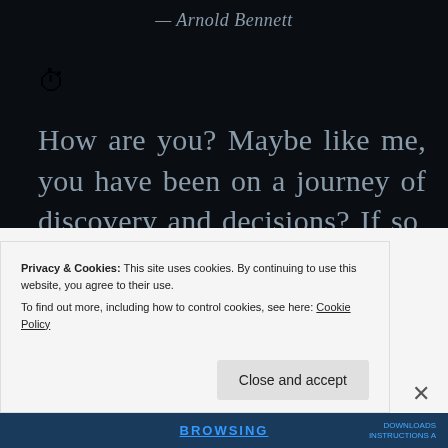— Arnold Bennett
[Figure (illustration): Stopwatch emoji icon]
How are you? Maybe like me, you have been on a journey of discovery and decisions? If so, I am sure that our paths will lead us to even deeper knowledge, new ideas, unexpected
Privacy & Cookies: This site uses cookies. By continuing to use this website, you agree to their use.
To find out more, including how to control cookies, see here: Cookie Policy
Close and accept